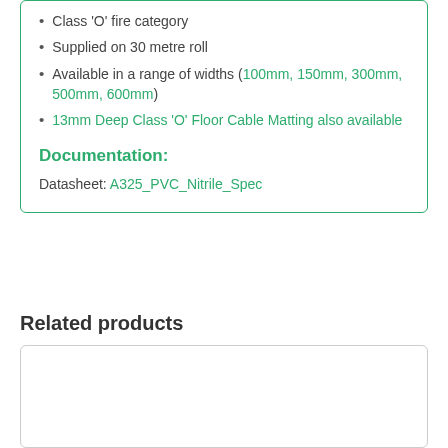Class 'O' fire category
Supplied on 30 metre roll
Available in a range of widths (100mm, 150mm, 300mm, 500mm, 600mm)
13mm Deep Class 'O' Floor Cable Matting also available
Documentation:
Datasheet: A325_PVC_Nitrile_Spec
Related products